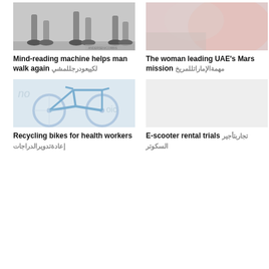[Figure (photo): Two people walking, showing their legs and feet from below, grayscale photo]
Mind-reading machine helps man walk again ■■■■■■■■■■■■
[Figure (photo): Blurred pink/red tones image related to UAE Mars mission]
The woman leading UAE’s Mars mission ■■■■■■■■■■■■
[Figure (photo): Bicycle illustration/photo with blue bike frame outline, light background]
Recycling bikes for health workers ■■■■■■■■■■■■■■■■■
[Figure (photo): Blank/empty placeholder image for E-scooter rental trials article]
E-scooter rental trials ■■■■■■■■■ ■■■